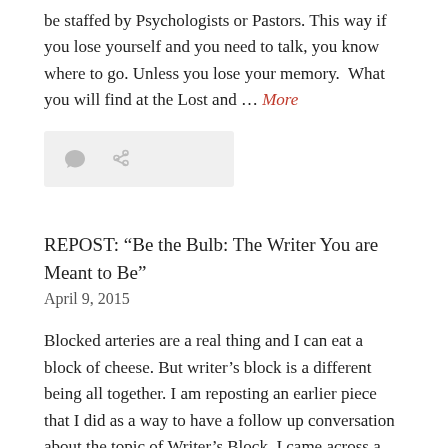be staffed by Psychologists or Pastors. This way if you lose yourself and you need to talk, you know where to go. Unless you lose your memory.  What you will find at the Lost and … More
[Figure (other): Light gray icon bar with a speech bubble icon and a chain/link icon]
REPOST: “Be the Bulb: The Writer You are Meant to Be”
April 9, 2015
Blocked arteries are a real thing and I can eat a block of cheese. But writer’s block is a different being all together. I am reposting an earlier piece that I did as a way to have a follow up conversation about the topic of Writer’s Block. I came across a post in Facebook by …